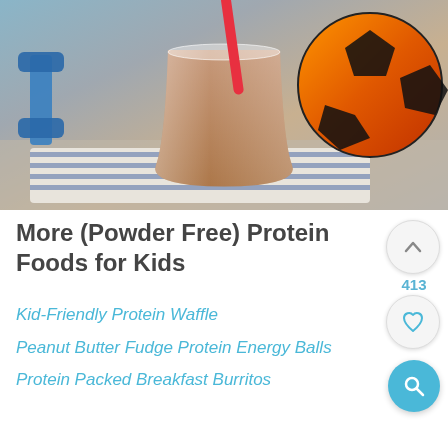[Figure (photo): A chocolate protein smoothie in a stemless glass with a red straw, sitting on a blue and white striped cloth. A blue dumbbell and an orange and black soccer ball are visible in the background.]
More (Powder Free) Protein Foods for Kids
Kid-Friendly Protein Waffle
Peanut Butter Fudge Protein Energy Balls
Protein Packed Breakfast Burritos